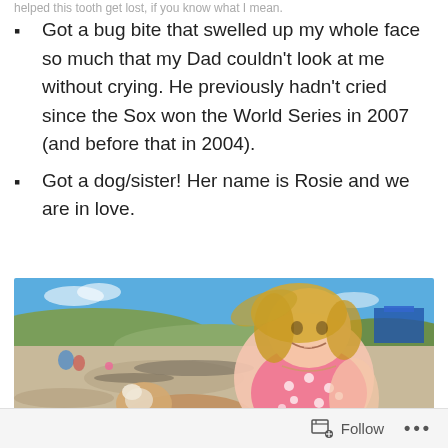helped this tooth get lost, if you know what I mean.
Got a bug bite that swelled up my whole face so much that my Dad couldn't look at me without crying. He previously hadn't cried since the Sox won the World Series in 2007 (and before that in 2004).
Got a dog/sister! Her name is Rosie and we are in love.
[Figure (photo): A young girl with blonde hair smiling at the beach, hugging a dog (Rosie). She is wearing a pink polka dot shirt. The background shows sand, dunes with grass, and a blue sky.]
Follow  ...